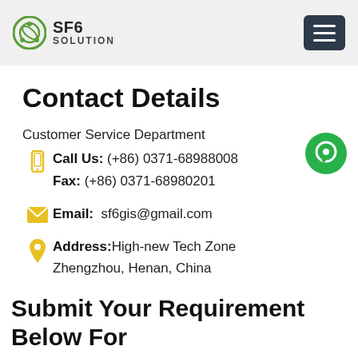SF6 SOLUTION
Contact Details
Customer Service Department
Call Us: (+86) 0371-68988008
Fax: (+86) 0371-68980201
Email: sf6gis@gmail.com
Address: High-new Tech Zone Zhengzhou, Henan, China
Submit Your Requirement Below For